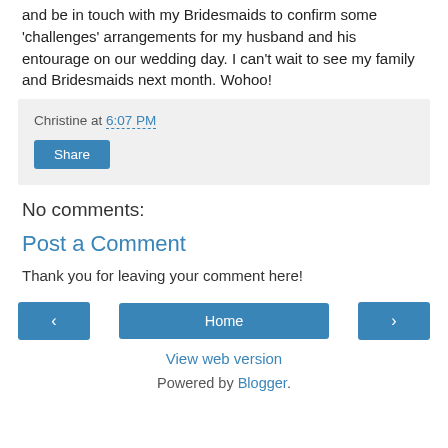and be in touch with my Bridesmaids to confirm some 'challenges' arrangements for my husband and his entourage on our wedding day. I can't wait to see my family and Bridesmaids next month. Wohoo!
Christine at 6:07 PM
Share
No comments:
Post a Comment
Thank you for leaving your comment here!
‹
Home
›
View web version
Powered by Blogger.